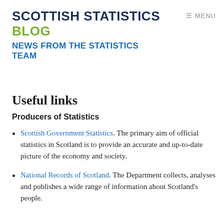SCOTTISH STATISTICS BLOG NEWS FROM THE STATISTICS TEAM
≡ MENU
Useful links
Producers of Statistics
Scottish Government Statistics. The primary aim of official statistics in Scotland is to provide an accurate and up-to-date picture of the economy and society.
National Records of Scotland. The Department collects, analyses and publishes a wide range of information about Scotland's people.